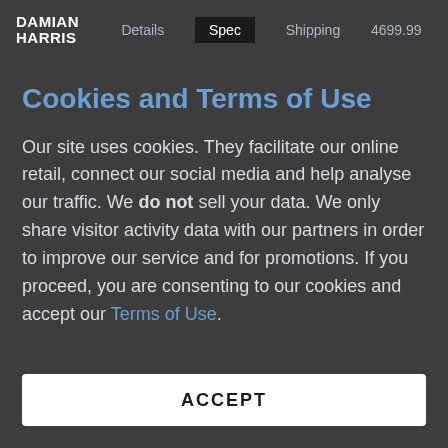DAMIAN HARRIS  Details  Spec  Shipping  4699.99
Cookies and Terms of Use
Our site uses cookies. They facilitate our online retail, connect our social media and help analyse our traffic. We do not sell your data. We only share visitor activity data with our partners in order to improve our service and for promotions. If you proceed, you are consenting to our cookies and accept our Terms of Use.
ACCEPT